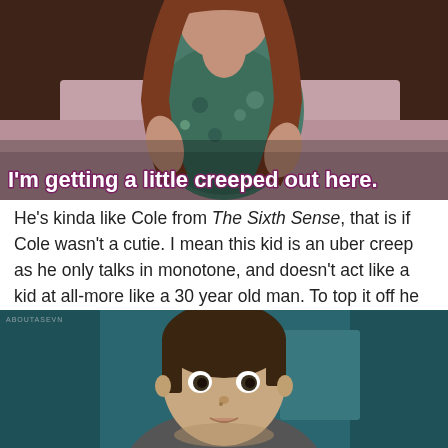[Figure (photo): A woman with long reddish-brown hair wearing a floral blue-green dress, sitting indoors. Movie still from The Sixth Sense.]
I'm getting a little creeped out here.
He's kinda like Cole from The Sixth Sense, that is if Cole wasn't a cutie. I mean this kid is an uber creep as he only talks in monotone, and doesn't act like a kid at all-more like a 30 year old man. To top it off he even draws strange murderous pictures. Horrifying.
[Figure (photo): A young boy with short brown hair, wide eyes, looking slightly to the side. Movie still from The Sixth Sense. Watermark reads ABOUTASEVN.]